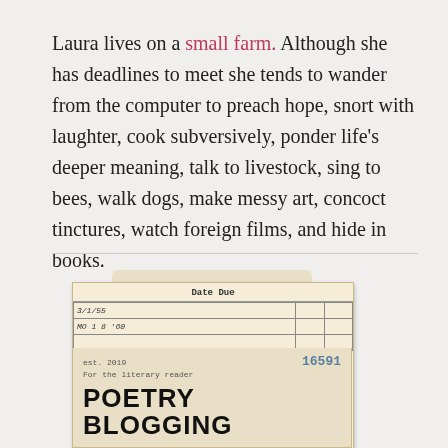Laura lives on a small farm. Although she has deadlines to meet she tends to wander from the computer to preach hope, snort with laughter, cook subversively, ponder life's deeper meaning, talk to livestock, sing to bees, walk dogs, make messy art, concoct tinctures, watch foreign films, and hide in books.
[Figure (photo): Vintage library card showing a date due table with handwritten entries (3/1/55, MO 1 8 '60), establishment info 'est. 2019', number 16591, 'For the literary reader', and bold text 'POETRY BLOGGING' at the bottom.]